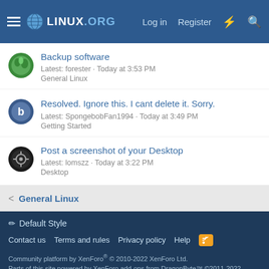Linux.org — Log in  Register
Backup software
Latest: forester · Today at 3:53 PM
General Linux
Resolved. Ignore this. I cant delete it. Sorry.
Latest: SpongebobFan1994 · Today at 3:49 PM
Getting Started
Post a screenshot of your Desktop
Latest: lomszz · Today at 3:22 PM
Desktop
< General Linux
✏ Default Style
Contact us  Terms and rules  Privacy policy  Help
Community platform by XenForo® © 2010-2022 XenForo Ltd.
Parts of this site powered by XenForo add-ons from DragonByte™ ©2011-2022 DragonByte Technologies Ltd. (Details)